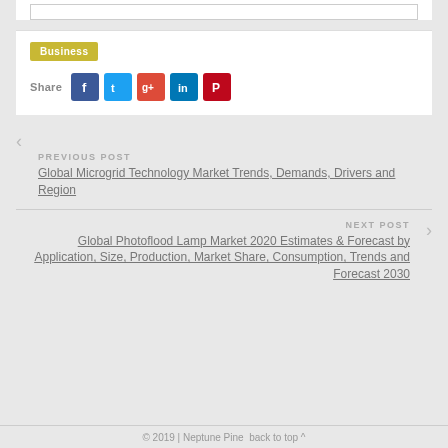[Figure (screenshot): Top portion of white card with search box stub]
Business
Share (social icons: Facebook, Twitter, Google+, LinkedIn, Pinterest)
PREVIOUS POST
Global Microgrid Technology Market Trends, Demands, Drivers and Region
NEXT POST
Global Photoflood Lamp Market 2020 Estimates & Forecast by Application, Size, Production, Market Share, Consumption, Trends and Forecast 2030
© 2019 | Neptune Pine back to top ^